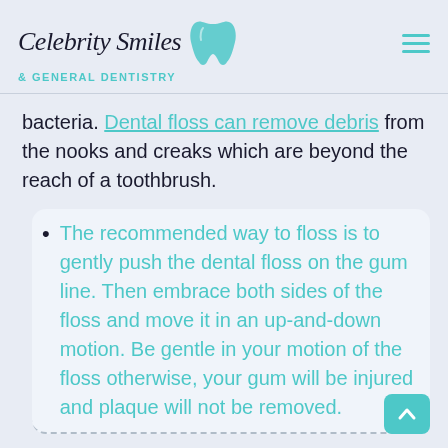Celebrity Smiles & GENERAL DENTISTRY
bacteria. Dental floss can remove debris from the nooks and creaks which are beyond the reach of a toothbrush.
The recommended way to floss is to gently push the dental floss on the gum line. Then embrace both sides of the floss and move it in an up-and-down motion. Be gentle in your motion of the floss otherwise, your gum will be injured and plaque will not be removed.